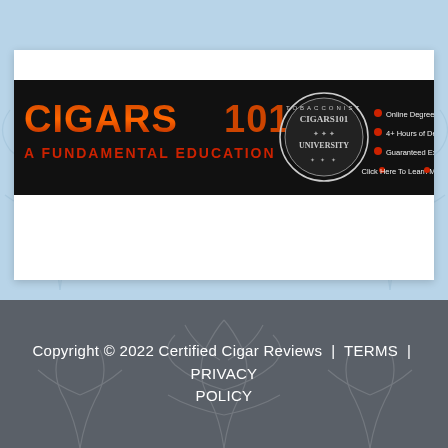[Figure (logo): Cigars 101 - A Fundamental Education banner ad on black background. Left side shows 'CIGARS 101' in large red/orange gradient text with 'A FUNDAMENTAL EDUCATION' below in red. Center shows a circular seal/badge for 'Tobacconist Cigars101 University'. Right side lists bullet points: 'Online Degree with Final Exam & Diploma', '4+ Hours of Deep Learning & New Content', 'Guaranteed Excellence - Not For Dummies!', 'Click Here To Learn More']
Copyright © 2022 Certified Cigar Reviews | TERMS | PRIVACY POLICY